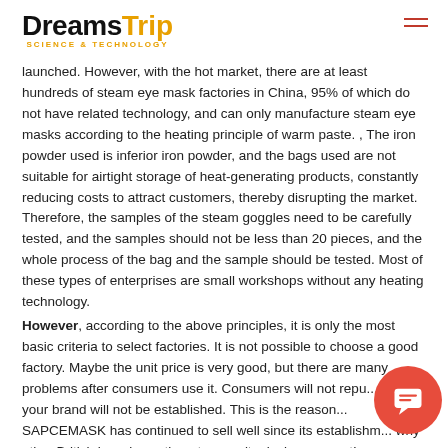DreamsTrip SCIENCE & TECHNOLOGY
launched. However, with the hot market, there are at least hundreds of steam eye mask factories in China, 95% of which do not have related technology, and can only manufacture steam eye masks according to the heating principle of warm paste. , The iron powder used is inferior iron powder, and the bags used are not suitable for airtight storage of heat-generating products, constantly reducing costs to attract customers, thereby disrupting the market. Therefore, the samples of the steam goggles need to be carefully tested, and the samples should not be less than 20 pieces, and the whole process of the bag and the sample should be tested. Most of these types of enterprises are small workshops without any heating technology.
However, according to the above principles, it is only the most basic criteria to select factories. It is not possible to choose a good factory. Maybe the unit price is very good, but there are many problems after consumers use it. Consumers will not repu... then your brand will not be established. This is the reason... SAPCEMASK has continued to sell well since its establishm... why other British brands continue to copy its design concept!